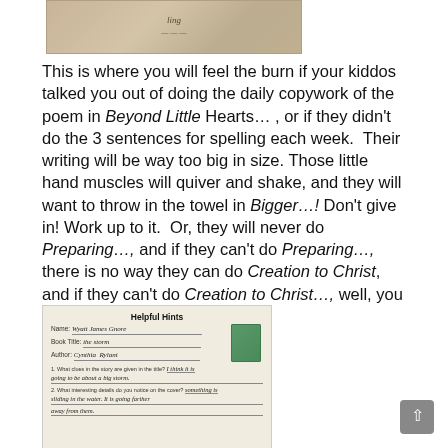[Figure (photo): Top portion of a handwritten or printed document, partially visible, with cursive-style text, beige/tan background.]
This is where you will feel the burn if your kiddos talked you out of doing the daily copywork of the poem in Beyond Little Hearts…, or if they didn't do the 3 sentences for spelling each week.  Their writing will be way too big in size. Those little hand muscles will quiver and shake, and they will want to throw in the towel in Bigger…! Don't give in! Work up to it.  Or, they will never do Preparing…, and if they can't do Preparing…, there is no way they can do Creation to Christ, and if they can't do Creation to Christ…, well, you get the picture.
[Figure (photo): A worksheet titled 'Helpful Hints' with handwritten student responses. Fields include Name (Wyatt James Gnore), Book Title (The Storm), Author (Cynthia Rylant), and two questions with handwritten answers about clues in the story and interesting details on the cover.]